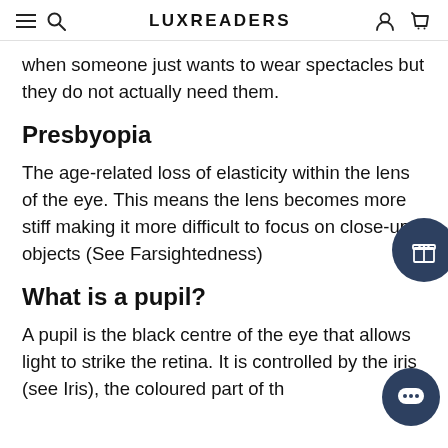LUXREADERS
when someone just wants to wear spectacles but they do not actually need them.
Presbyopia
The age-related loss of elasticity within the lens of the eye. This means the lens becomes more stiff making it more difficult to focus on close-up objects (See Farsightedness)
What is a pupil?
A pupil is the black centre of the eye that allows light to strike the retina. It is controlled by the iris (see Iris), the coloured part of the